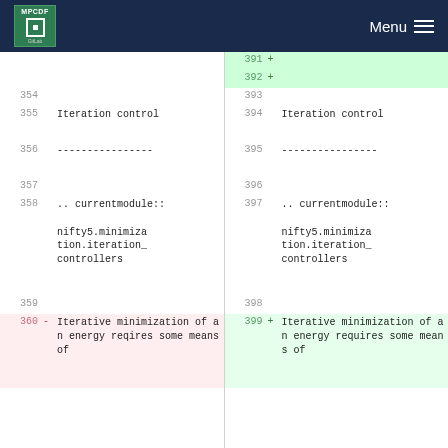MPCDF Menu
| line_left | marker_left | content_left | line_right | marker_right | content_right |
| --- | --- | --- | --- | --- | --- |
|  |  |  | 391 | + |  |
|  |  |  | 392 | + |  |
| 354 |  |  | 393 |  |  |
| 355 |  | Iteration control | 394 |  | Iteration control |
| 356 |  | ---------------- | 395 |  | ---------------- |
| 357 |  |  | 396 |  |  |
| 358 |  | .. currentmodule::

nifty5.minimization.iteration_controllers | 397 |  | .. currentmodule::

nifty5.minimization.iteration_controllers |
| 359 |  |  | 398 |  |  |
| 360 | - | Iterative minimization of an energy reqires some means of | 399 | + | Iterative minimization of an energy requires some means of |